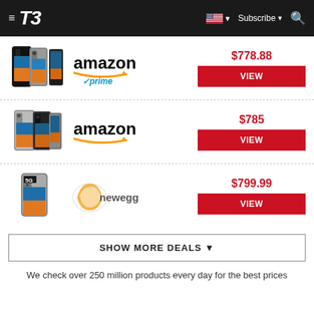T3 | Subscribe
[Figure (screenshot): Huawei smartphone product image - multiple phones shown]
[Figure (logo): Amazon logo with Prime checkmark]
$778.88
VIEW
[Figure (screenshot): Huawei smartphone product image - multiple phones shown]
[Figure (logo): Amazon logo]
$785
VIEW
[Figure (screenshot): Huawei 5G smartphone product image]
[Figure (logo): Newegg logo]
$799.99
VIEW
SHOW MORE DEALS ▼
We check over 250 million products every day for the best prices